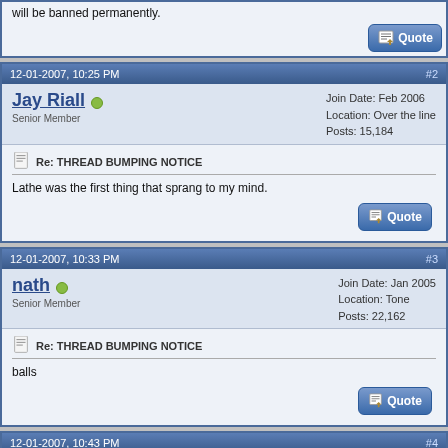will be banned permanently.
12-01-2007, 10:25 PM  #2
Jay Riall  Senior Member  Join Date: Feb 2006  Location: Over the line  Posts: 15,184
Re: THREAD BUMPING NOTICE
Lathe was the first thing that sprang to my mind.
12-01-2007, 10:33 PM  #3
nath  Senior Member  Join Date: Jan 2005  Location: Tone  Posts: 22,162
Re: THREAD BUMPING NOTICE
balls
12-01-2007, 10:43 PM  #4
sublime  Join Date: Mar 2004  Location: our only chance!